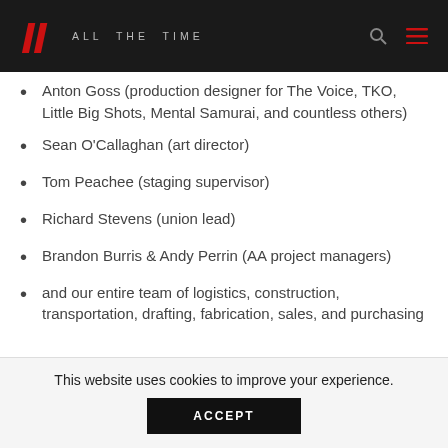ALL THE TIME
Anton Goss (production designer for The Voice, TKO, Little Big Shots, Mental Samurai, and countless others)
Sean O'Callaghan (art director)
Tom Peachee (staging supervisor)
Richard Stevens (union lead)
Brandon Burris & Andy Perrin (AA project managers)
and our entire team of logistics, construction, transportation, drafting, fabrication, sales, and purchasing personnel at our LA shop
This website uses cookies to improve your experience.
ACCEPT